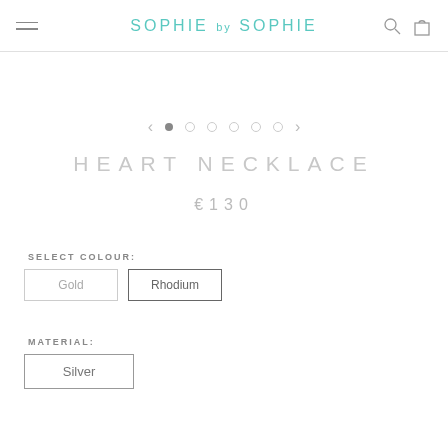SOPHIE by SOPHIE
[Figure (other): Image carousel with navigation arrows and 6 dot indicators, first dot active]
HEART NECKLACE
€130
SELECT COLOUR:
Gold  Rhodium
MATERIAL:
Silver